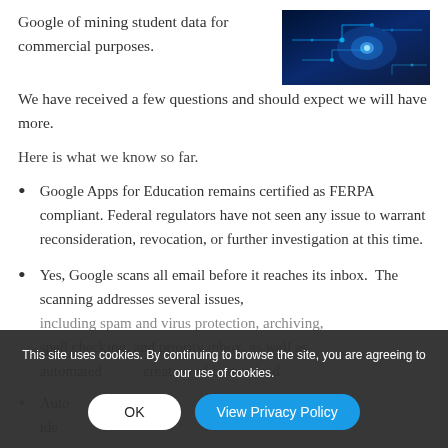Google of mining student data for commercial purposes. We have received a few questions and should expect we will have more.
[Figure (photo): Technology/circuit board image with blue glowing lights and circuit patterns]
Here is what we know so far.
Google Apps for Education remains certified as FERPA compliant. Federal regulators have not seen any issue to warrant reconsideration, revocation, or further investigation at this time.
Yes, Google scans all email before it reaches its inbox.  The scanning addresses several issues, including spam and virus protection, archiving, spell checking, and priority inbox, as well as automated creation of customized
Auto ide... display
This site uses cookies. By continuing to browse the site, you are agreeing to our use of cookies.